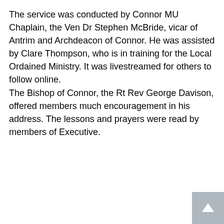The service was conducted by Connor MU Chaplain, the Ven Dr Stephen McBride, vicar of Antrim and Archdeacon of Connor. He was assisted by Clare Thompson, who is in training for the Local Ordained Ministry. It was livestreamed for others to follow online. The Bishop of Connor, the Rt Rev George Davison, offered members much encouragement in his address. The lessons and prayers were read by members of Executive.